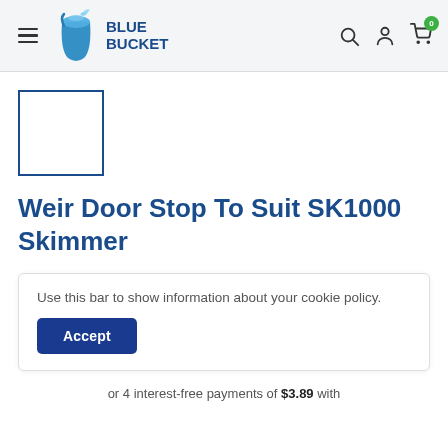Blue Bucket — navigation header with hamburger menu, logo, search, account, and cart icons
[Figure (other): Small product thumbnail placeholder — empty white box with blue border]
Weir Door Stop To Suit SK1000 Skimmer
Use this bar to show information about your cookie policy.
Accept
or 4 interest-free payments of $3.89 with